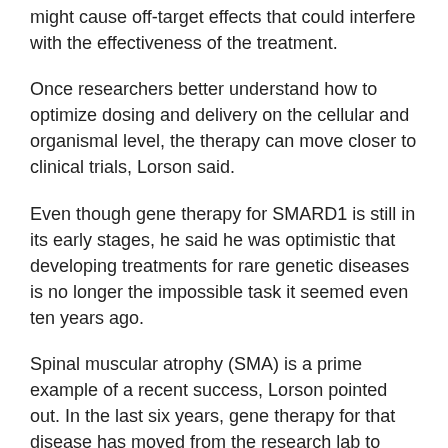might cause off-target effects that could interfere with the effectiveness of the treatment.
Once researchers better understand how to optimize dosing and delivery on the cellular and organismal level, the therapy can move closer to clinical trials, Lorson said.
Even though gene therapy for SMARD1 is still in its early stages, he said he was optimistic that developing treatments for rare genetic diseases is no longer the impossible task it seemed even ten years ago.
Spinal muscular atrophy (SMA) is a prime example of a recent success, Lorson pointed out. In the last six years, gene therapy for that disease has moved from the research lab to Phase I clinical trials.
“While it feels like a long time for any patient and their families,” Lorson reassured, “things are moving at a tremendous pace.”